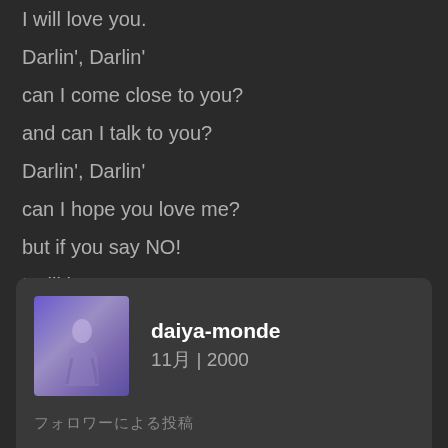I will love you.
Darlin', Darlin'
can I come close to you?
and can I talk to you?
Darlin', Darlin'
can I hope you love me?
but if you say NO!
I will love you.
[Figure (illustration): User profile card with album art thumbnail showing a purple-toned figure illustration. Username: daiya-monde, meta: 11月 | 2000]
フォロワーによる投稿
1.    How?(U.K. Mix)
2.    Everything Is In Our Mind